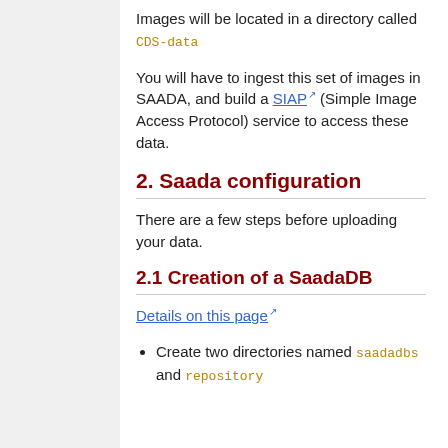Images will be located in a directory called CDS-data
You will have to ingest this set of images in SAADA, and build a SIAP (Simple Image Access Protocol) service to access these data.
2. Saada configuration
There are a few steps before uploading your data.
2.1 Creation of a SaadaDB
Details on this page
Create two directories named saadadbs and repository